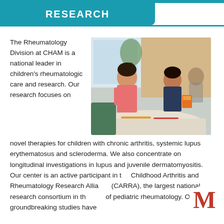RESEARCH
[Figure (photo): Two children (a girl in pink shirt and a boy in dark shirt) sitting at a white table, drawing or writing, in a bright room with plants and windows in the background.]
The Rheumatology Division at CHAM is a national leader in children's rheumatologic care and research. Our research focuses on novel therapies for children with chronic arthritis, systemic lupus erythematosus and scleroderma. We also concentrate on longitudinal investigations in lupus and juvenile dermatomyositis. Our center is an active participant in the Childhood Arthritis and Rheumatology Research Alliance (CARRA), the largest national research consortium in the field of pediatric rheumatology. Our groundbreaking studies have